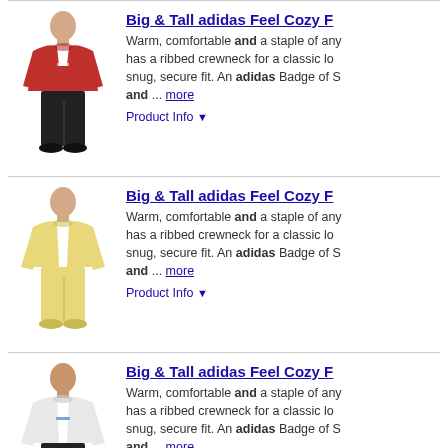[Figure (photo): Man wearing red adidas crewneck sweatshirt]
Big & Tall adidas Feel Cozy F...
Warm, comfortable and a staple of any... has a ribbed crewneck for a classic lo... snug, secure fit. An adidas Badge of S... and ... more
Product Info ▼
[Figure (photo): Man wearing yellow adidas crewneck sweatshirt]
Big & Tall adidas Feel Cozy F...
Warm, comfortable and a staple of any... has a ribbed crewneck for a classic lo... snug, secure fit. An adidas Badge of S... and ... more
Product Info ▼
[Figure (photo): Man wearing white/grey adidas crewneck sweatshirt]
Big & Tall adidas Feel Cozy F...
Warm, comfortable and a staple of any... has a ribbed crewneck for a classic lo... snug, secure fit. An adidas Badge of S... and ... more
Product Info ▼
Ads related to big and tall adidas feel cozy crew sweats...